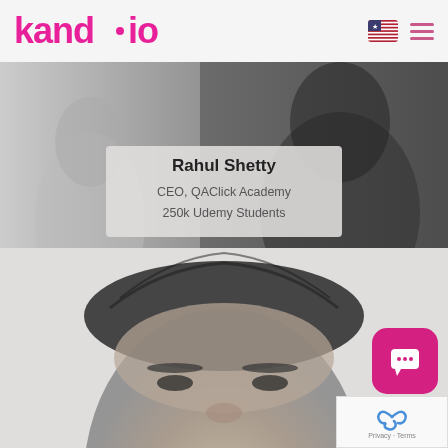[Figure (logo): kand.io logo in pink/magenta color with navigation icons (US flag and hamburger menu) on the right]
[Figure (photo): Grayscale photo of Rahul Shetty, upper body, black and white]
Rahul Shetty
CEO, QAClick Academy
250k Udemy Students
[Figure (photo): Grayscale close-up photo of a man's face (lower portion of page)]
[Figure (other): Pink rounded square chat button with white speech bubble icon]
[Figure (other): reCAPTCHA verification box with Privacy and Terms text]